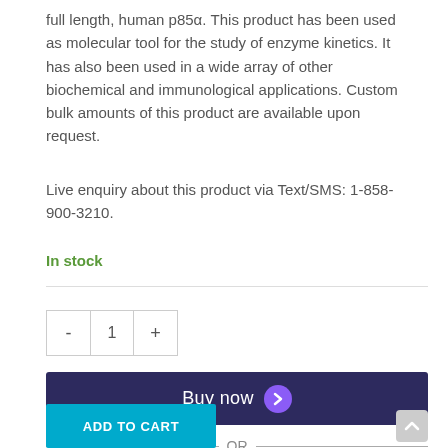full length, human p85α. This product has been used as molecular tool for the study of enzyme kinetics. It has also been used in a wide array of other biochemical and immunological applications. Custom bulk amounts of this product are available upon request.
Live enquiry about this product via Text/SMS: 1-858-900-3210.
In stock
- 1 +
Buy now
— OR —
ADD TO CART